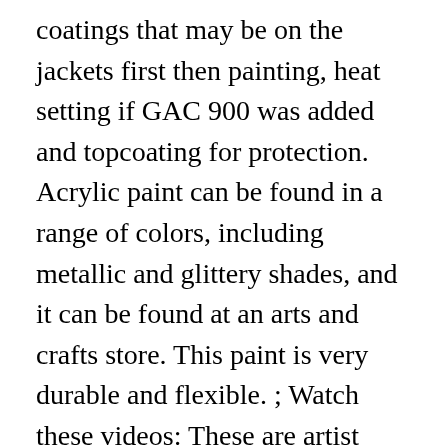coatings that may be on the jackets first then painting, heat setting if GAC 900 was added and topcoating for protection. Acrylic paint can be found in a range of colors, including metallic and glittery shades, and it can be found at an arts and crafts store. This paint is very durable and flexible. ; Watch these videos: These are artist acrylics. I can't see this article. eval(ez_write_tag([[468,60],'acrylicartworld_com-medrectangle-3','ezslot_8',108,'0','0'])); In this case, you can use a leather deglazer to help remove this coating before trying another, but I find that most of the time alcohol does the trick. These include polishes, leather conditioners, protective sprays, and leather paint. Custom-painted leather apparel and